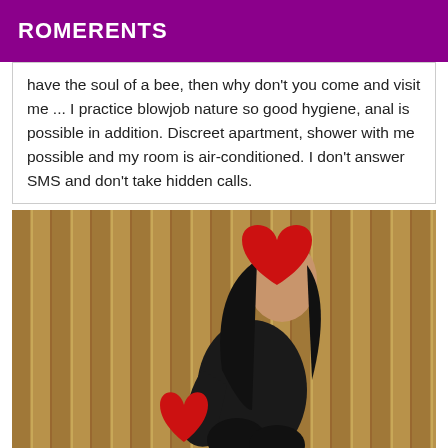ROMERENTS
have the soul of a bee, then why don't you come and visit me ... I practice blowjob nature so good hygiene, anal is possible in addition. Discreet apartment, shower with me possible and my room is air-conditioned. I don't answer SMS and don't take hidden calls.
[Figure (photo): Photo of a woman dressed in black sitting against a wooden curtain background, with red heart shapes covering her face and lower body for anonymity.]